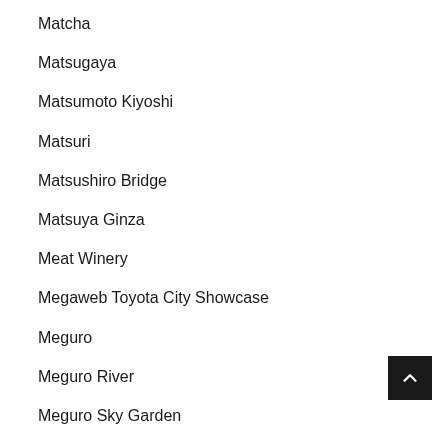Matcha
Matsugaya
Matsumoto Kiyoshi
Matsuri
Matsushiro Bridge
Matsuya Ginza
Meat Winery
Megaweb Toyota City Showcase
Meguro
Meguro River
Meguro Sky Garden